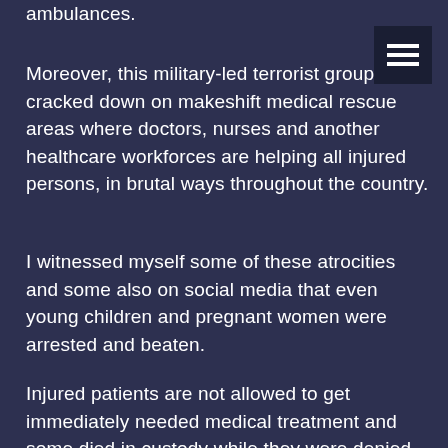ambulances.
Moreover, this military-led terrorist group has cracked down on makeshift medical rescue areas where doctors, nurses and another healthcare workforces are helping all injured persons, in brutal ways throughout the country.
I witnessed myself some of these atrocities and some also on social media that even young children and pregnant women were arrested and beaten.
Injured patients are not allowed to get immediately needed medical treatment and some died in custody while they were denied